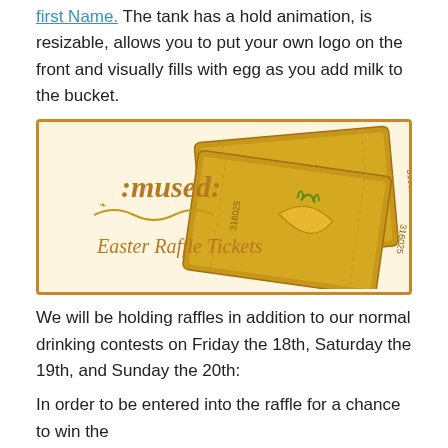first Name. The tank has a hold animation, is resizable, allows you to put your own logo on the front and visually fills with egg as you add milk to the bucket.
[Figure (illustration): Easter Raffle Tickets promotional image showing ':mused: Easter Raffle Tickets' text with golden raffle ticket graphics numbered 316025, on a cream background with gold border.]
We will be holding raffles in addition to our normal drinking contests on Friday the 18th, Saturday the 19th, and Sunday the 20th:
In order to be entered into the raffle for a chance to win the